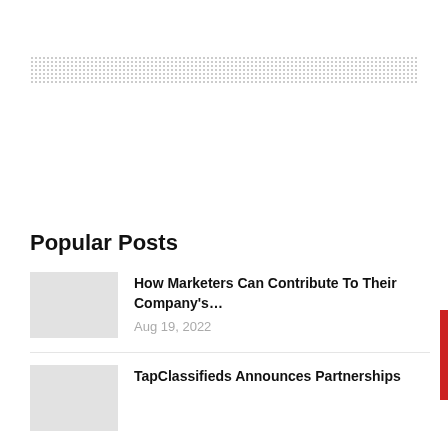[Figure (other): Dotted/stippled gray horizontal banner placeholder for an advertisement]
Popular Posts
How Marketers Can Contribute To Their Company's...
Aug 19, 2022
TapClassifieds Announces Partnerships